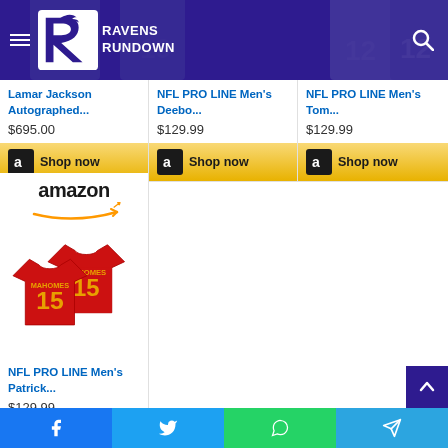[Figure (logo): Ravens Rundown website header with logo (raven bird on R letter) and site name]
[Figure (screenshot): Product card: Lamar Jackson Autographed... $695.00 with Amazon Shop now button]
[Figure (screenshot): Product card: NFL PRO LINE Men's Deebo... $129.99 with Amazon Shop now button]
[Figure (screenshot): Product card: NFL PRO LINE Men's Tom... $129.99 with Amazon Shop now button]
[Figure (screenshot): Product card: NFL PRO LINE Men's Patrick... $129.99 with Amazon logo and red #15 jersey image, Shop now button partially visible]